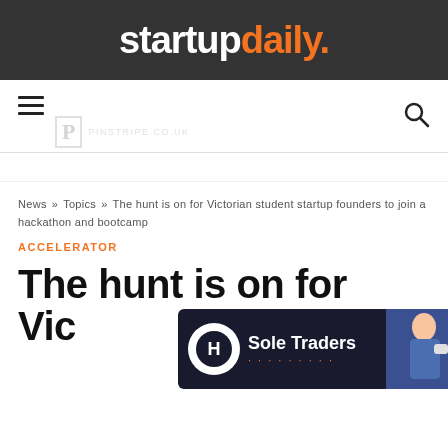startupdaily.
[Figure (logo): Startup Daily logo with 'startup' in white bold text and 'daily.' in orange bold text on dark background]
[Figure (screenshot): Navigation bar with hamburger menu icon on left, watermark P logo in center-left, and search icon on right]
News » Topics » The hunt is on for Victorian student startup founders to join a hackathon and bootcamp
ACCELERATOR
The hunt is on for Victorian student startup founders to join a hackathon and bootcamp
[Figure (infographic): Advertisement overlay for 'Sole Traders' product by Hnry, featuring circular H logo, title text, decorative dots, and woman with tablet on right side]